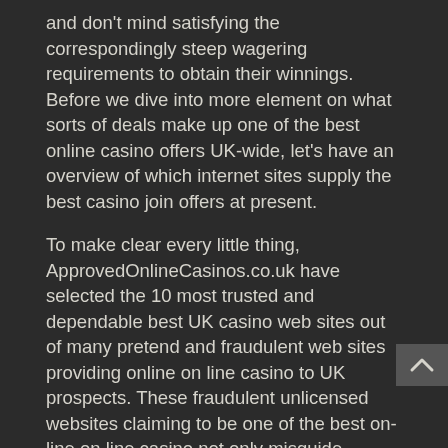and don't mind satisfying the correspondingly steep wagering requirements to obtain their winnings. Before we dive into more element on what sorts of deals make up one of the best online casino offers UK-wide, let's have an overview of which internet sites supply the best casino join offers at present.
To make clear every little thing, ApprovedOnlineCasinos.co.uk have selected the 10 most trusted and dependable best UK casino web sites out of many pretend and fraudulent web sites providing online on line casino to UK prospects. These fraudulent unlicensed websites claiming to be one of the best on-line on line casino not only misguide individuals by offering pirated and pretend on line casino providers but in addition waste everyone's time and money. The ApprovedOnlineCasinos.co.uk group have filtered out all the rip-off casino web sites preserving on this list only legla UK verified casino web sites that UK clients can make certain to take pleasure in safely. There are more than one hundred choices on the mobile platform and about 500 slots on the PC model.
Bonus funds should be used inside 30 days in any other case any unused bonus shall be eliminated. Bonus funds are one hundred percent bonus to $400 on your 1st deposit, 40% on...